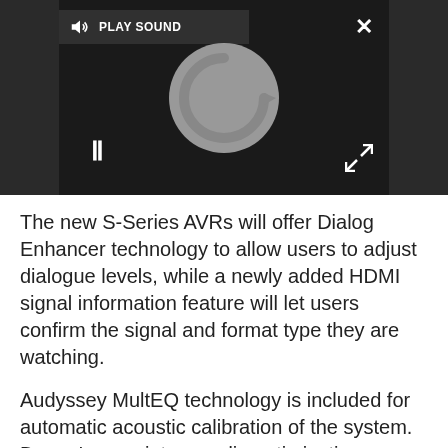[Figure (screenshot): Video player UI with dark background showing a loading/spinning circle icon, pause button (two vertical bars), PLAY SOUND label with speaker icon, close X button top right, expand arrows button bottom right]
The new S-Series AVRs will offer Dialog Enhancer technology to allow users to adjust dialogue levels, while a newly added HDMI signal information feature will let users confirm the signal and format type they are watching.
Audyssey MultEQ technology is included for automatic acoustic calibration of the system. Denon's proprietary audio optimisation technology detects the speakers' size, type, and configuration and measures their response in up to six listening positions. With the AVR-S760H list...